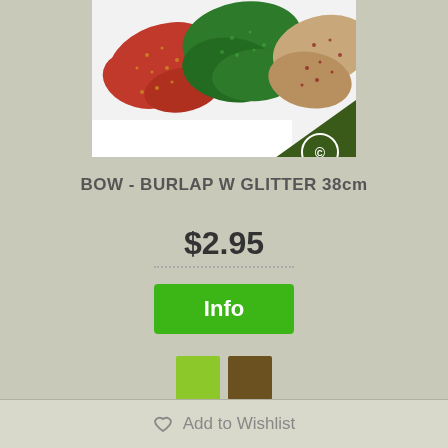[Figure (photo): Product photo showing decorative fabric bows in red with gold pattern, green with pattern, and tan/beige with red dots. Dark green triangle with logo in bottom-right corner of image.]
BOW - BURLAP W GLITTER 38cm
$2.95
Info
Add to Wishlist